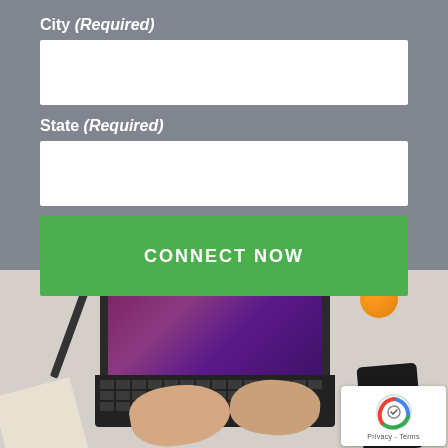City (Required)
State (Required)
CONNECT NOW
[Figure (photo): Overhead view of a person typing on a laptop on a white desk, with a notebook, pen, orange fruit, and smartphone nearby. A reCAPTCHA badge is visible in the bottom right corner.]